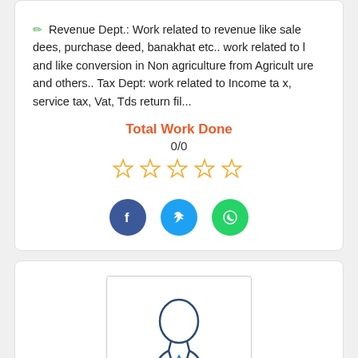Revenue Dept.: Work related to revenue like sale dees, purchase deed, banakhat etc.. work related to land like conversion in Non agriculture from Agriculture and others.. Tax Dept: work related to Income tax, service tax, Vat, Tds return fil...
Total Work Done
0/0
[Figure (other): Five empty star rating icons in orange/yellow outline]
[Figure (other): Social media share buttons: Facebook (dark blue), Twitter (light blue), WhatsApp (green)]
[Figure (illustration): Generic user/person silhouette profile image placeholder in a bordered box]
Ciao Bella Creative & Executive Freelance